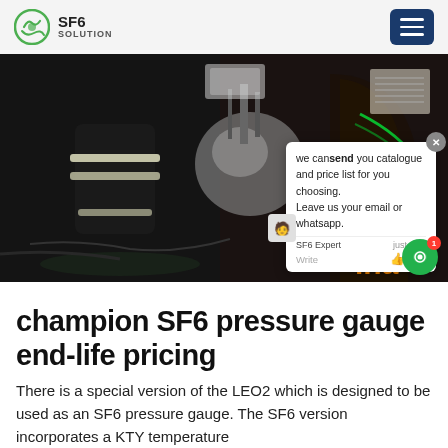SF6 SOLUTION
[Figure (photo): Dark industrial photo showing a worker in reflective gear near SF6 equipment, with a live chat popup overlay reading: 'we can send you catalogue and price list for you choosing. Leave us your email or whatsapp.' SF6 Expert just now. Write actions. Green chat button with badge '1'. Orange text 'ina' bottom right.]
champion SF6 pressure gauge end-life pricing
There is a special version of the LEO2 which is designed to be used as an SF6 pressure gauge. The SF6 version incorporates a KTY temperature